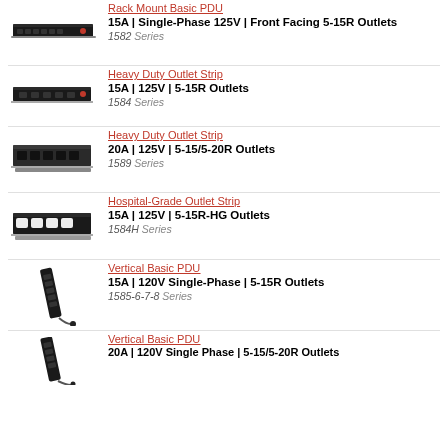Rack Mount Basic PDU | 15A | Single-Phase 125V | Front Facing 5-15R Outlets | 1582 Series
Heavy Duty Outlet Strip | 15A | 125V | 5-15R Outlets | 1584 Series
Heavy Duty Outlet Strip | 20A | 125V | 5-15/5-20R Outlets | 1589 Series
Hospital-Grade Outlet Strip | 15A | 125V | 5-15R-HG Outlets | 1584H Series
Vertical Basic PDU | 15A | 120V Single-Phase | 5-15R Outlets | 1585-6-7-8 Series
Vertical Basic PDU | 20A | 120V Single Phase | 5-15/5-20R Outlets